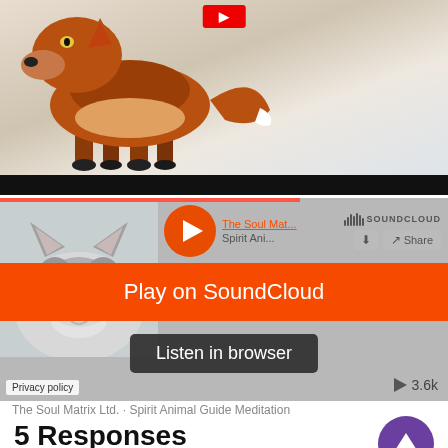[Figure (screenshot): Fox walking in snow, with a black control bar at the bottom (likely a video player)]
[Figure (screenshot): SoundCloud embedded player widget showing a wolf thumbnail, play button, 'The Soul Mat...' and 'Spirit Ani...' text, SoundCloud logo, Share button, 'Play on SoundCloud' orange overlay button, 'Listen in browser' dark button, Privacy policy label, and 3.6k play count]
The Soul Matrix Ltd. · Spirit Animal Guide Meditation
5 Responses